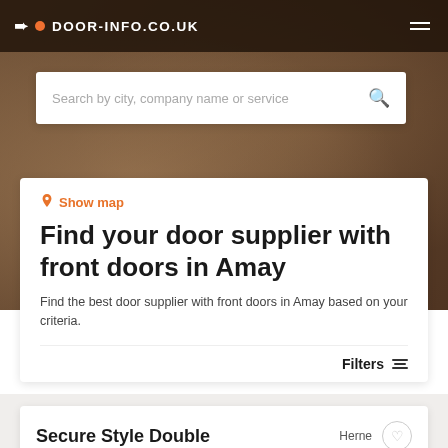DOOR-INFO.CO.UK
[Figure (screenshot): Search bar with placeholder text: Search by city, company name or service]
Show map
Find your door supplier with front doors in Amay
Find the best door supplier with front doors in Amay based on your criteria.
Filters
Secure Style Double
Herne